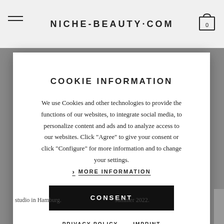NICHE-BEAUTY.COM
COOKIE INFORMATION
We use Cookies and other technologies to provide the functions of our websites, to integrate social media, to personalize content and ads and to analyze access to our websites. Click "Agree" to give your consent or click "Configure" for more information and to change your settings.
> MORE INFORMATION
CONSENT
PRIVACY POLICY   IMPRINT
studio in Hamburg.
summer 2022.